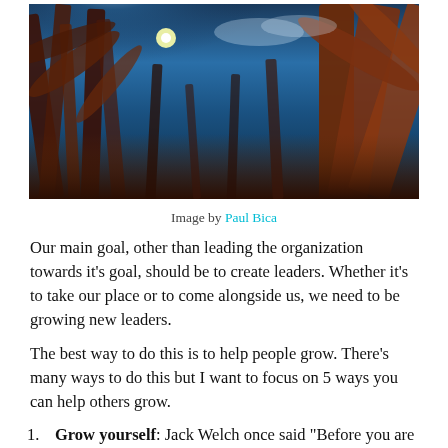[Figure (photo): Upward-looking photograph through dried corn stalks against a dramatic blue sky with sunburst and clouds]
Image by Paul Bica
Our main goal, other than leading the organization towards it's goal, should be to create leaders. Whether it's to take our place or to come alongside us, we need to be growing new leaders.
The best way to do this is to help people grow. There's many ways to do this but I want to focus on 5 ways you can help others grow.
Grow yourself: Jack Welch once said “Before you are a leader, success is all about growing yourself. When you